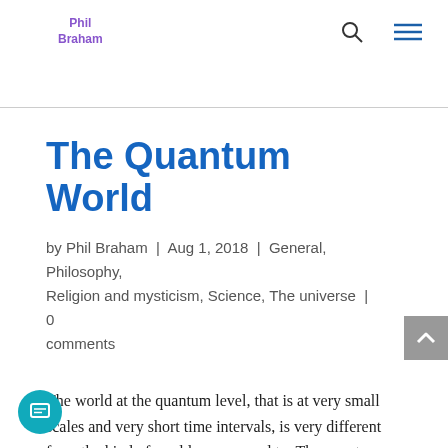Phil Braham
The Quantum World
by Phil Braham | Aug 1, 2018 | General, Philosophy, Religion and mysticism, Science, The universe | 0 comments
The world at the quantum level, that is at very small scales and very short time intervals, is very different from the kind of world we are used to. The quantum effects only affect very small particles and time instances. In our physical world what we call the laws of nature are an averaging of quantum effects. One illustration of the peculiar nature of the quantum world